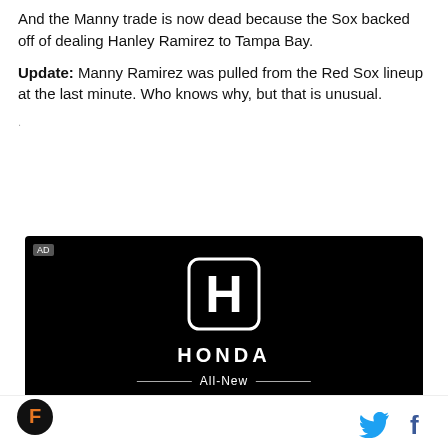And the Manny trade is now dead because the Sox backed off of dealing Hanley Ramirez to Tampa Bay.
Update: Manny Ramirez was pulled from the Red Sox lineup at the last minute. Who knows why, but that is unusual.
[Figure (advertisement): Honda advertisement on black background featuring Honda H logo, text 'HONDA', 'All-New' with decorative lines, and large 'HR-V' text. AD label in top-left corner.]
Footer with site logo on the left and Twitter and Facebook icons on the right.